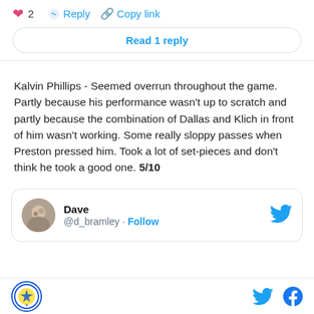♥ 2  Reply  Copy link
Read 1 reply
Kalvin Phillips - Seemed overrun throughout the game. Partly because his performance wasn't up to scratch and partly because the combination of Dallas and Klich in front of him wasn't working. Some really sloppy passes when Preston pressed him. Took a lot of set-pieces and don't think he took a good one. 5/10
Dave @d_bramley · Follow